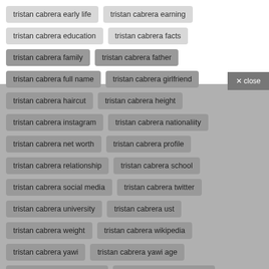tristan cabrera early life
tristan cabrera earning
tristan cabrera education
tristan cabrera facts
tristan cabrera family
tristan cabrera father
tristan cabrera full name
tristan cabrera girlfriend
tristan cabrera haircut
tristan cabrera height
tristan cabrera instagram
tristan cabrera nationaliity
tristan cabrera net worth
tristan cabrera profile
tristan cabrera relationship
tristan cabrera school
tristan cabrera social media
tristan cabrera twitter
tristan cabrera university
tristan cabrera ust
tristan cabrera weight
tristan cabrera wikipedia
tristan cabrera yawi
tristan cabrera yawi age
tristan cabrera yawi height
tristan cabrera zodiac sign
who is tristan cabrera
who is tristan cabrera girlfriend